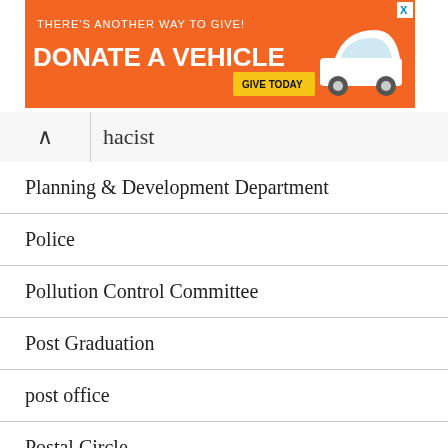[Figure (other): Orange advertisement banner: 'THERE'S ANOTHER WAY TO GIVE! DONATE A VEHICLE — GIVE TODAY' with a white car image and close (X) button]
hacist
Planning & Development Department
Police
Pollution Control Committee
Post Graduation
post office
Postal Circle
Postman
Power Corporation Limited
Prasar Bharati
Probationary Officers
PSC/UPSC